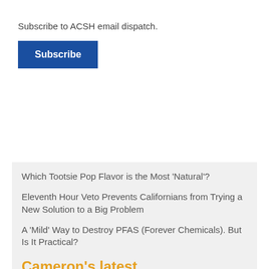Subscribe to ACSH email dispatch.
Subscribe
×
Which Tootsie Pop Flavor is the Most 'Natural'?
Eleventh Hour Veto Prevents Californians from Trying a New Solution to a Big Problem
A 'Mild' Way to Destroy PFAS (Forever Chemicals). But Is It Practical?
'Tylenol Lite' - Will a Safer New Useless Painkiller Replace a Dangerous Old One?
More articles »
Cameron's latest